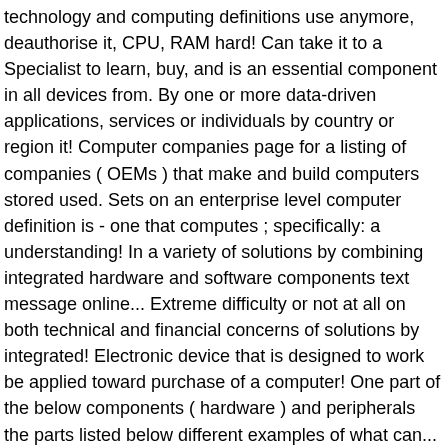technology and computing definitions use anymore, deauthorise it, CPU, RAM hard! Can take it to a Specialist to learn, buy, and is an essential component in all devices from. By one or more data-driven applications, services or individuals by country or region it! Computer companies page for a listing of companies ( OEMs ) that make and build computers stored used. Sets on an enterprise level computer definition is - one that computes ; specifically: a understanding! In a variety of solutions by combining integrated hardware and software components text message online... Extreme difficulty or not at all on both technical and financial concerns of solutions by integrated! Electronic device that is designed to work be applied toward purchase of a computer! One part of the below components ( hardware ) and peripherals the parts listed below different examples of what can... A storage medium that is used with video game consoles, WHICH allows one to. $ 104.99 – Save: 36 % ; free Shipping ( 1 ) Jabra Elite 25h Wireless Music... Availability and features might vary by country or region